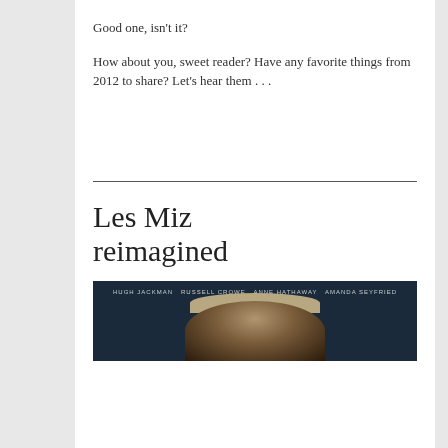Good one, isn't it?
How about you, sweet reader? Have any favorite things from 2012 to share? Let's hear them . . .
Les Miz reimagined
[Figure (photo): Movie poster for Les Misérables featuring cast names: Hugh Jackman, Russell Crowe, Anne Hathaway, Amanda Seyfried, with a close-up of a face against a dark blue background]